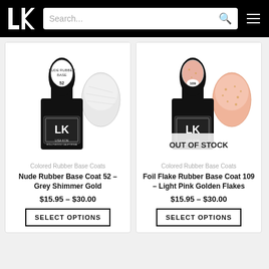LK [Logo] Search... [menu]
[Figure (photo): Nude Rubber Base Coat 52 nail polish bottle (black bottle with LK logo, number 52) and nail swatch showing grey shimmer gold color]
Colored Rubber Base Coats
Nude Rubber Base Coat 52 – Grey Shimmer Gold
$15.95 – $30.00
SELECT OPTIONS
[Figure (photo): Foil Flake Rubber Base Coat 109 nail polish bottle (black bottle with LK logo, number 109) and nail swatch showing light pink golden flakes color, with OUT OF STOCK overlay]
Colored Rubber Base Coats
Foil Flake Rubber Base Coat 109 – Light Pink Golden Flakes
$15.95 – $30.00
SELECT OPTIONS